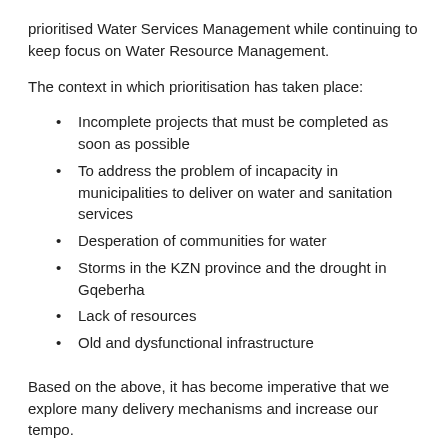prioritised Water Services Management while continuing to keep focus on Water Resource Management.
The context in which prioritisation has taken place:
Incomplete projects that must be completed as soon as possible
To address the problem of incapacity in municipalities to deliver on water and sanitation services
Desperation of communities for water
Storms in the KZN province and the drought in Gqeberha
Lack of resources
Old and dysfunctional infrastructure
Based on the above, it has become imperative that we explore many delivery mechanisms and increase our tempo.
We have long annouced the recofiguration of Water Boards; that process is underway and by the end of the year, we would have made substantial progress. The aim is to use